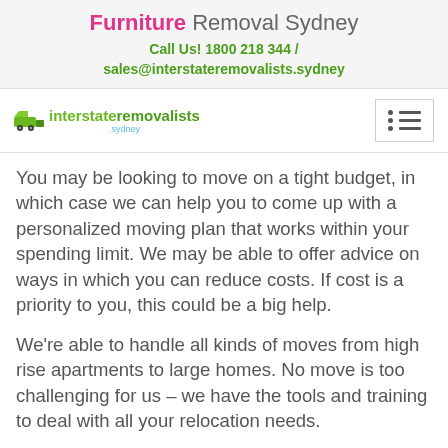Furniture Removal Sydney
Call Us! 1800 218 344 / sales@interstateremovalists.sydney
[Figure (logo): Interstate Removalists Sydney logo with a green van icon and green/teal text]
You may be looking to move on a tight budget, in which case we can help you to come up with a personalized moving plan that works within your spending limit. We may be able to offer advice on ways in which you can reduce costs. If cost is a priority to you, this could be a big help.
We're able to handle all kinds of moves from high rise apartments to large homes. No move is too challenging for us – we have the tools and training to deal with all your relocation needs.